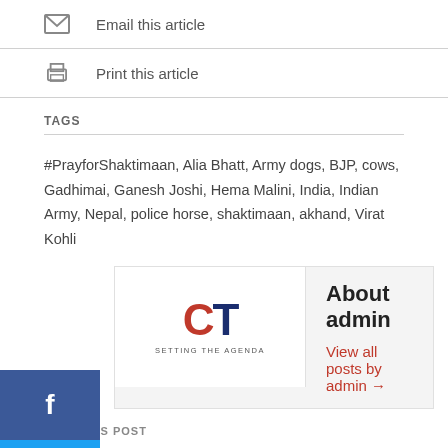Email this article
Print this article
TAGS
#PrayforShaktimaan, Alia Bhatt, Army dogs, BJP, cows, Gadhimai, Ganesh Joshi, Hema Malini, India, Indian Army, Nepal, police horse, shaktimaan, akhand, Virat Kohli
[Figure (logo): CT logo with tagline SETTING THE AGENDA]
About admin
View all posts by admin →
PREVIOUS POST
Balanche: Minorities threatened by Jihadists in Middle-East
NEXT POST